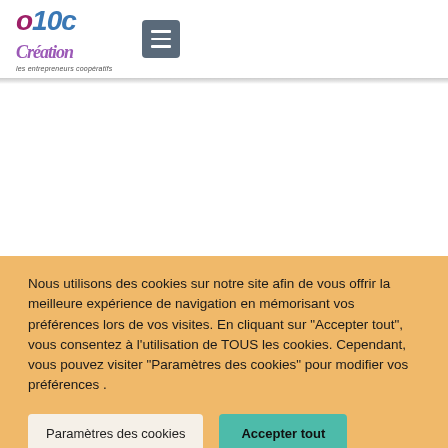[Figure (logo): O10c Création logo with purple/blue stylized text and tagline 'les entrepreneurs coopératifs', plus a hamburger menu button]
Nous utilisons des cookies sur notre site afin de vous offrir la meilleure expérience de navigation en mémorisant vos préférences lors de vos visites. En cliquant sur "Accepter tout", vous consentez à l'utilisation de TOUS les cookies. Cependant, vous pouvez visiter "Paramètres des cookies" pour modifier vos préférences .
Paramètres des cookies
Accepter tout